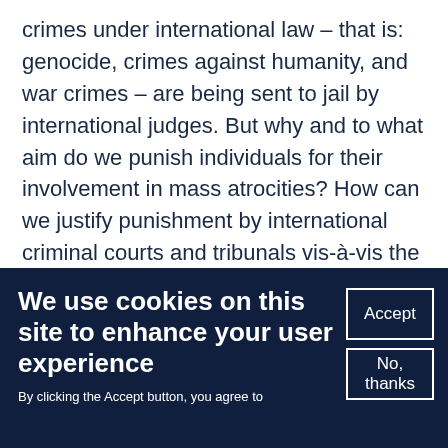crimes under international law – that is: genocide, crimes against humanity, and war crimes – are being sent to jail by international judges. But why and to what aim do we punish individuals for their involvement in mass atrocities? How can we justify punishment by international criminal courts and tribunals vis-à-vis the affected individual? Or more generally: What are and what should be the rationales for punishment in international law? Among the (few) answers given to these questions one relates to the claim that
We use cookies on this site to enhance your user experience
By clicking the Accept button, you agree to